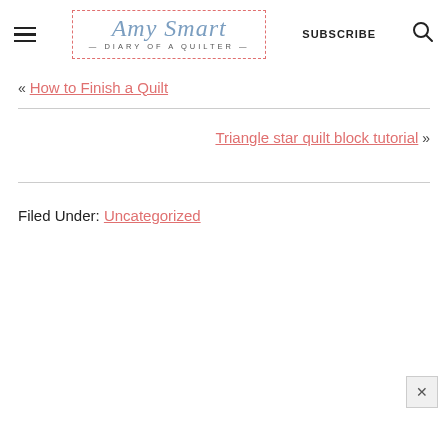Amy Smart — DIARY of a QUILTER — SUBSCRIBE
« How to Finish a Quilt
Triangle star quilt block tutorial »
Filed Under: Uncategorized